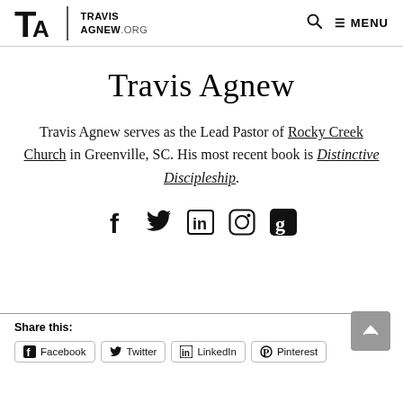TRAVIS AGNEW.ORG — MENU
Travis Agnew
Travis Agnew serves as the Lead Pastor of Rocky Creek Church in Greenville, SC. His most recent book is Distinctive Discipleship.
[Figure (infographic): Social media icons: Facebook, Twitter, LinkedIn, Instagram, Goodreads]
Share this:
Facebook  Twitter  LinkedIn  Pinterest